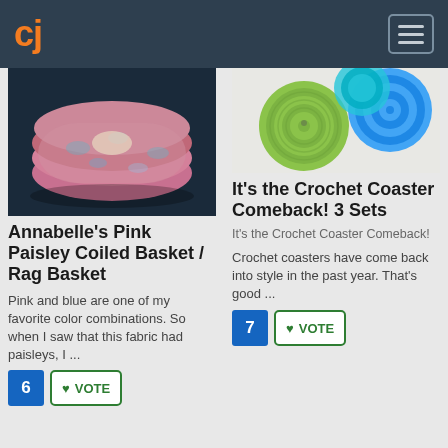CJ
[Figure (photo): Annabelle's Pink Paisley Coiled Basket photo showing a colorful fabric basket on a dark background]
Annabelle's Pink Paisley Coiled Basket / Rag Basket
Pink and blue are one of my favorite color combinations. So when I saw that this fabric had paisleys, I ...
6  VOTE
[Figure (photo): Crochet coasters in green and blue colors on white background]
It's the Crochet Coaster Comeback! 3 Sets
It's the Crochet Coaster Comeback!
Crochet coasters have come back into style in the past year. That's good ...
7  VOTE